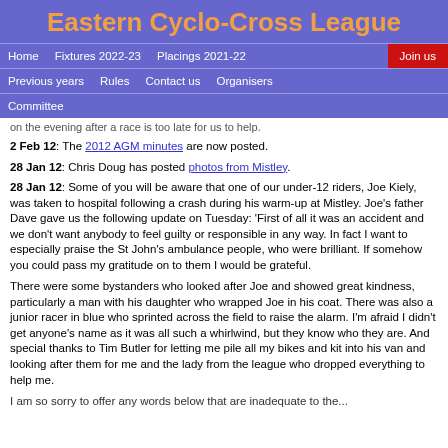Eastern Cyclo-Cross League
Home | Fixtures 2022-23 | Placings 2021-22 | Join us | Previous years | Rules | Contact us | Organisers | Committee
on the evening after a race is too late for us to help.
2 Feb 12: The 2012 AGM minutes are now posted.
28 Jan 12: Chris Doug has posted photos from Mistley.
28 Jan 12: Some of you will be aware that one of our under-12 riders, Joe Kiely, was taken to hospital following a crash during his warm-up at Mistley. Joe's father Dave gave us the following update on Tuesday: 'First of all it was an accident and we don't want anybody to feel guilty or responsible in any way. In fact I want to especially praise the St John's ambulance people, who were brilliant. If somehow you could pass my gratitude on to them I would be grateful.
There were some bystanders who looked after Joe and showed great kindness, particularly a man with his daughter who wrapped Joe in his coat. There was also a junior racer in blue who sprinted across the field to raise the alarm. I'm afraid I didn't get anyone's name as it was all such a whirlwind, but they know who they are. And special thanks to Tim Butler for letting me pile all my bikes and kit into his van and looking after them for me and the lady from the league who dropped everything to help me.
I am so sorry to offer any words below that are inadequate to the...